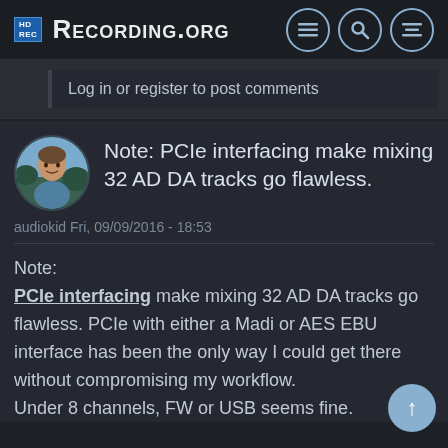Recording.org
Log in or register to post comments
Note: PCIe interfacing make mixing 32 AD DA tracks go flawless.
audiokid Fri, 09/09/2016 - 18:53
Note:
PCIe interfacing make mixing 32 AD DA tracks go flawless. PCIe with either a Madi or AES EBU interface has been the only way I could get there without compromising my workflow.
Under 8 channels, FW or USB seems fine.